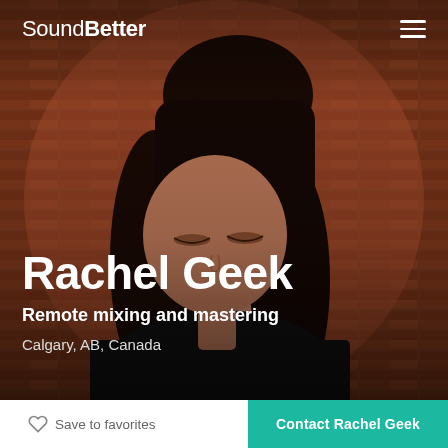[Figure (photo): Profile photo of Rachel Geek, a woman with long dark hair looking down, against a brick wall background. Dark overlay applied over the photo.]
SoundBetter
Rachel Geek
Remote mixing and mastering
Calgary, AB, Canada
Save to favorites
Contact Rachel Geek